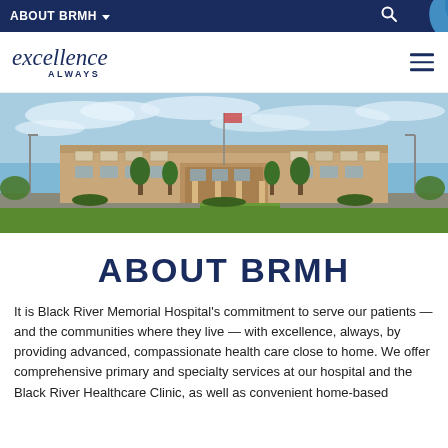ABOUT BRMH
[Figure (photo): Exterior photo of Black River Memorial Hospital building with trees, parking lot, flag pole, and blue sky with clouds]
ABOUT BRMH
It is Black River Memorial Hospital's commitment to serve our patients — and the communities where they live — with excellence, always, by providing advanced, compassionate health care close to home. We offer comprehensive primary and specialty services at our hospital and the Black River Healthcare Clinic, as well as convenient home-based